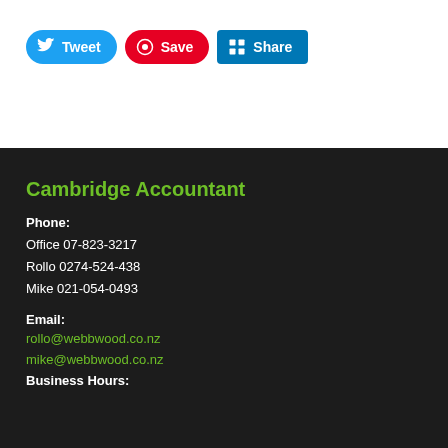[Figure (other): Social media sharing buttons: Tweet (Twitter/blue), Save (Pinterest/red), Share (LinkedIn/blue)]
Cambridge Accountant
Phone:
Office 07-823-3217
Rollo 0274-524-438
Mike 021-054-0493
Email:
rollo@webbwood.co.nz
mike@webbwood.co.nz
Business Hours: